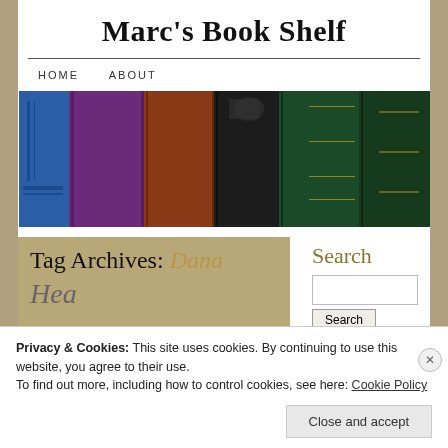Marc's Book Shelf
HOME   ABOUT
[Figure (photo): Row of old book spines in blue, purple, brown, black, and green colors]
Tag Archives: Dana
Hea
Search
Privacy & Cookies: This site uses cookies. By continuing to use this website, you agree to their use.
To find out more, including how to control cookies, see here: Cookie Policy
Close and accept